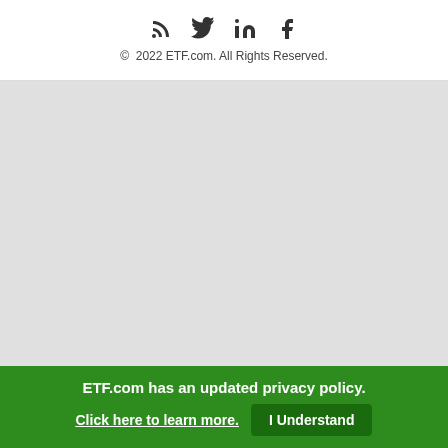[Figure (illustration): Social media icons: RSS feed, Twitter, LinkedIn, Facebook]
© 2022 ETF.com. All Rights Reserved.
ETF.com has an updated privacy policy.
Click here to learn more.  I Understand